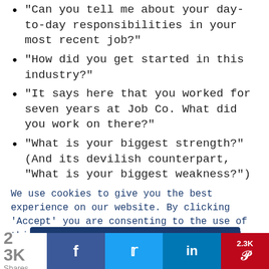"Can you tell me about your day-to-day responsibilities in your most recent job?"
"How did you get started in this industry?"
"It says here that you worked for seven years at Job Co. What did you work on there?"
"What is your biggest strength?" (And its devilish counterpart, "What is your biggest weakness?")
"Where do you see yourself in five years?"
These are straightforward questions with (hopefully)
We use cookies to give you the best experience on our website. By clicking 'Accept' you are consenting to the use of this data as outlined in our Privacy and Cookie Policy.